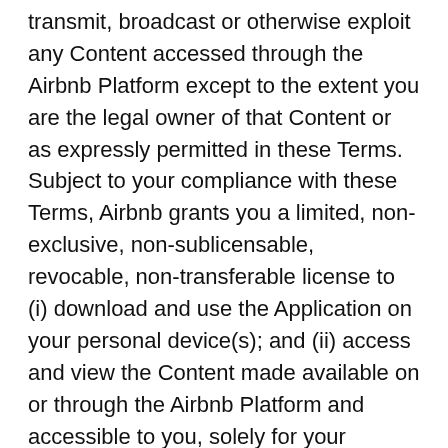transmit, broadcast or otherwise exploit any Content accessed through the Airbnb Platform except to the extent you are the legal owner of that Content or as expressly permitted in these Terms. Subject to your compliance with these Terms, Airbnb grants you a limited, non-exclusive, non-sublicensable, revocable, non-transferable license to (i) download and use the Application on your personal device(s); and (ii) access and view the Content made available on or through the Airbnb Platform and accessible to you, solely for your personal and non-commercial use.
23.10 Airbnb.org. Airbnb.org is a nonprofit corporation exempt from income taxation under U.S. Internal Revenue Code Section 501(c)(3), operating as a public charity. Airbnb.org is not owned or controlled by Airbnb. Airbnb.org is independent of...